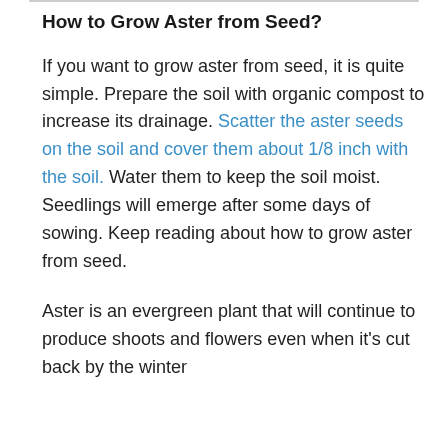How to Grow Aster from Seed?
If you want to grow aster from seed, it is quite simple. Prepare the soil with organic compost to increase its drainage. Scatter the aster seeds on the soil and cover them about 1/8 inch with the soil. Water them to keep the soil moist. Seedlings will emerge after some days of sowing. Keep reading about how to grow aster from seed.
Aster is an evergreen plant that will continue to produce shoots and flowers even when it's cut back by the winter